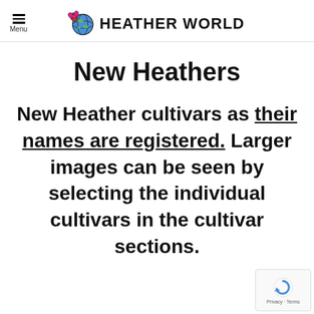Menu | HEATHER WORLD
New Heathers
New Heather cultivars as their names are registered. Larger images can be seen by selecting the individual cultivars in the cultivar sections.